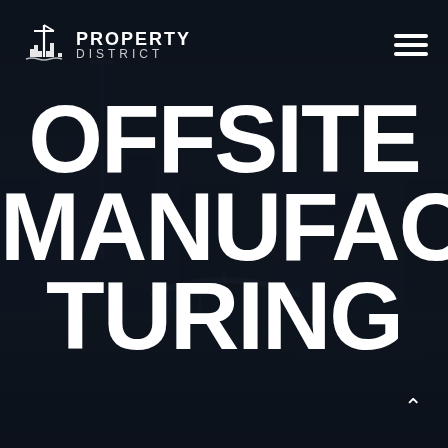[Figure (photo): Dark nighttime cityscape background showing a river, bridge, and city buildings with a very dark navy/black overlay tint]
PROPERTY DISTRICT
OFFSITE MANUFACTURING